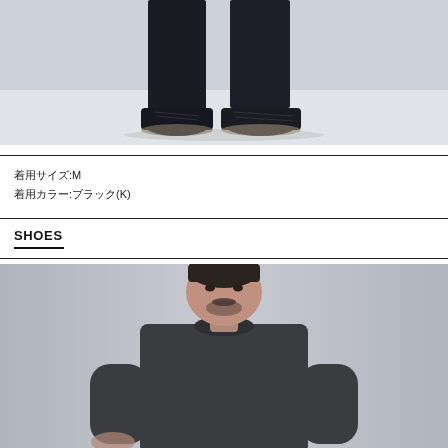[Figure (photo): Lower body shot of a person wearing dark navy/black trousers and black sneakers on a light gray background]
着用サイズ:M
着用カラー:ブラック(K)
SHOES
[Figure (photo): Upper body portrait of a man wearing a dark gray long-sleeve top, with a menu overlay bar at the bottom reading MENU]